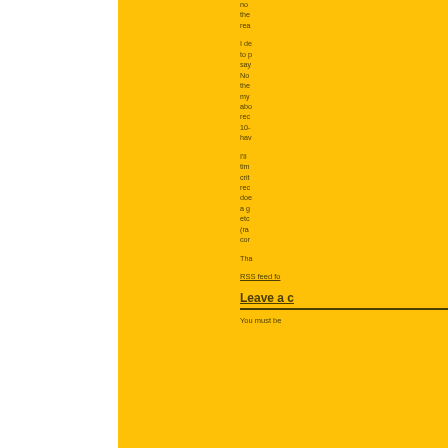no the they rea
I de to p say No the my abo rec 10- hav
I'll tim crit rec do a g etc (ra cor
Tha
RSS feed fo
Leave a c
You must be